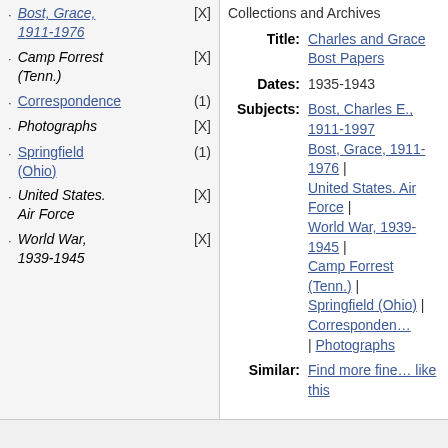Bost, Grace, 1911-1976 [X]
Camp Forrest (Tenn.) [X]
Correspondence (1)
Photographs [X]
Springfield (Ohio) (1)
United States. Air Force [X]
World War, 1939-1945 [X]
Collections and Archives
Title: Charles and Grace Bost Papers
Dates: 1935-1943
Subjects: Bost, Charles E., 1911-1997 | Bost, Grace, 1911-1976 | United States. Air Force | World War, 1939-1945 | Camp Forrest (Tenn.) | Springfield (Ohio) | Correspondence | Photographs
Similar: Find more finding aids like this